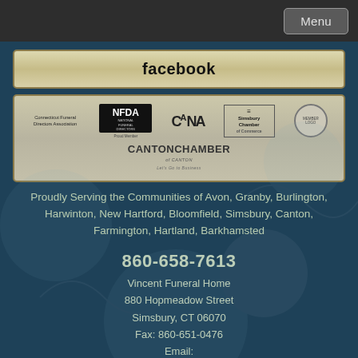Menu
facebook
[Figure (logo): Association logos: Connecticut Funeral Directors Association, NFDA Proud Member, CANA, Simsbury Chamber of Commerce, circular badge logo, Canton Chamber of Commerce]
Proudly Serving the Communities of Avon, Granby, Burlington, Harwinton, New Hartford, Bloomfield, Simsbury, Canton, Farmington, Hartland, Barkhamsted
860-658-7613
Vincent Funeral Home
880 Hopmeadow Street
Simsbury, CT 06070
Fax: 860-651-0476
Email:
Support@vincentfuneralhome.com